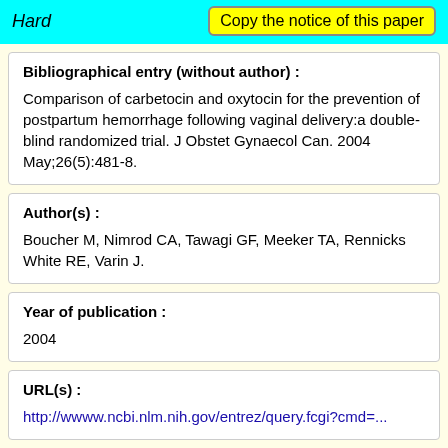Hard | Copy the notice of this paper
Bibliographical entry (without author) :
Comparison of carbetocin and oxytocin for the prevention of postpartum hemorrhage following vaginal delivery:a double-blind randomized trial. J Obstet Gynaecol Can. 2004 May;26(5):481-8.
Author(s) :
Boucher M, Nimrod CA, Tawagi GF, Meeker TA, Rennicks White RE, Varin J.
Year of publication :
2004
URL(s) :
http://wwww.ncbi.nlm.nih.gov/entrez/query.fcgi?cmd=...